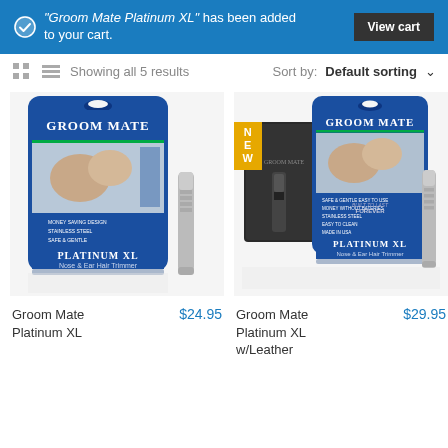"Groom Mate Platinum XL" has been added to your cart.
View cart
Showing all 5 results
Sort by: Default sorting
[Figure (photo): Groom Mate Platinum XL nose & ear hair trimmer product packaging with trimmer shown next to box]
Groom Mate Platinum XL
$24.95
[Figure (photo): Groom Mate Platinum XL with Leather case product packaging with trimmer and leather pouch shown next to box, marked NEW]
Groom Mate Platinum XL w/Leather
$29.95